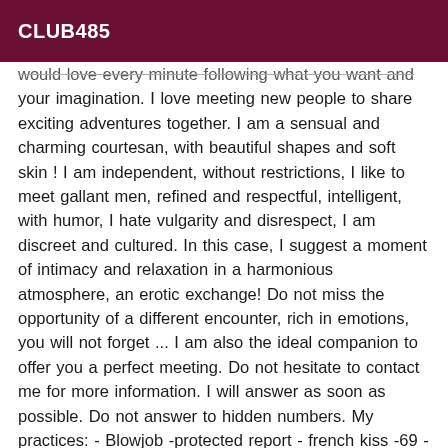CLUB485
would love every minute following what you want and your imagination. I love meeting new people to share exciting adventures together. I am a sensual and charming courtesan, with beautiful shapes and soft skin ! I am independent, without restrictions, I like to meet gallant men, refined and respectful, intelligent, with humor, I hate vulgarity and disrespect, I am discreet and cultured. In this case, I suggest a moment of intimacy and relaxation in a harmonious atmosphere, an erotic exchange! Do not miss the opportunity of a different encounter, rich in emotions, you will not forget ... I am also the ideal companion to offer you a perfect meeting. Do not hesitate to contact me for more information. I will answer as soon as possible. Do not answer to hidden numbers. My practices: - Blowjob -protected report - french kiss -69 - anal massage - COB (breasts or final body), -Erotic shower set - Change of caresses I always hope you're wearing very sexy and elegant outfits. You